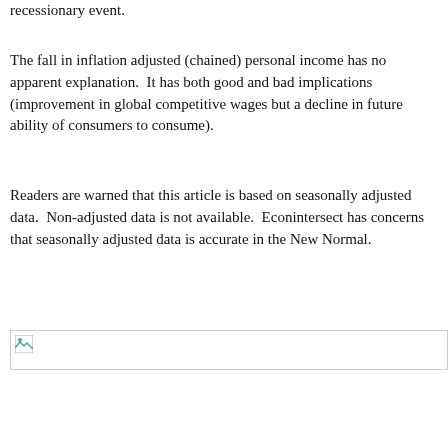recessionary event.
The fall in inflation adjusted (chained) personal income has no apparent explanation.  It has both good and bad implications (improvement in global competitive wages but a decline in future ability of consumers to consume).
Readers are warned that this article is based on seasonally adjusted data.  Non-adjusted data is not available.  Econintersect has concerns that seasonally adjusted data is accurate in the New Normal.
[Figure (other): Broken/missing image placeholder]